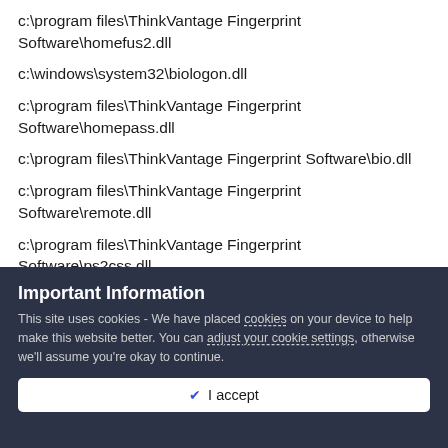c:\program files\ThinkVantage Fingerprint Software\homefus2.dll
c:\windows\system32\biologon.dll
c:\program files\ThinkVantage Fingerprint Software\homepass.dll
c:\program files\ThinkVantage Fingerprint Software\bio.dll
c:\program files\ThinkVantage Fingerprint Software\remote.dll
c:\program files\ThinkVantage Fingerprint Software\ps2css.dll
c:\program files\Lenovo\HOTKEY\tphklock.dll
c:\windows\system32\netprovcredman.dll
Important Information
This site uses cookies - We have placed cookies on your device to help make this website better. You can adjust your cookie settings, otherwise we'll assume you're okay to continue.
✓  I accept